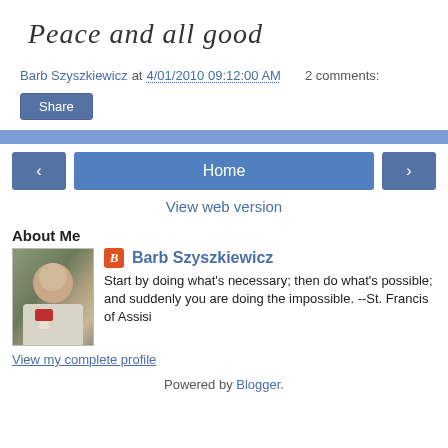Peace and all good
Barb Szyszkiewicz at 4/01/2010 09:12:00 AM   2 comments:
Share
‹  Home  ›
View web version
About Me
[Figure (photo): Profile photo of Barb Szyszkiewicz]
Barb Szyszkiewicz
Start by doing what's necessary; then do what's possible; and suddenly you are doing the impossible. --St. Francis of Assisi
View my complete profile
Powered by Blogger.